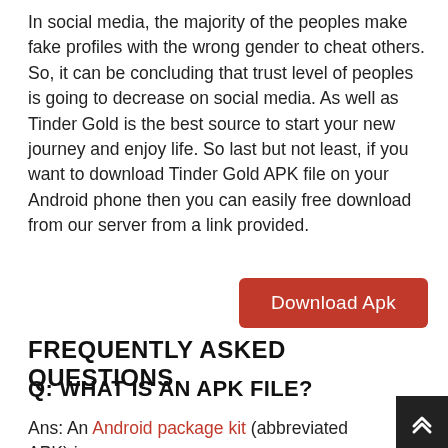In social media, the majority of the peoples make fake profiles with the wrong gender to cheat others. So, it can be concluding that trust level of peoples is going to decrease on social media. As well as Tinder Gold is the best source to start your new journey and enjoy life. So last but not least, if you want to download Tinder Gold APK file on your Android phone then you can easily free download from our server from a link provided.
[Figure (other): Red button labeled 'Download Apk']
FREQUENTLY ASKED QUESTIONS
Q: WHAT IS AN APK FILE?
Ans: An Android package kit (abbreviated APK) is a